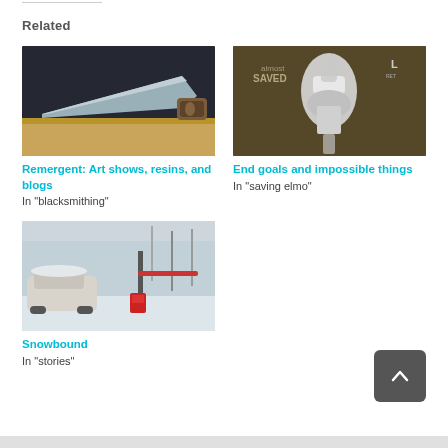Related
[Figure (photo): A large cleaver knife resting on a wooden cutting board against a dark background]
Remergent: Art shows, resins, and blogs
In "blacksmithing"
[Figure (photo): An X-ray image of a knee joint replacement with text 'almost SAVED' and marker 'L' visible]
End goals and impossible things
In "saving elmo"
[Figure (photo): A snowy winter scene with parked cars and a red parking gate barrier]
Snowbound
In "stories"